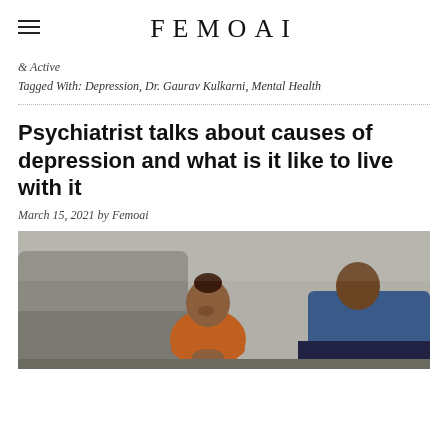FEMOAI
& Active
Tagged With: Depression, Dr. Gaurav Kulkarni, Mental Health
Psychiatrist talks about causes of depression and what is it like to live with it
March 15, 2021 by Femoai
[Figure (photo): A person sitting against a couch, looking down, wearing an orange top, with another person in a blue garment visible at the side — suggesting a counseling or emotional support scene.]